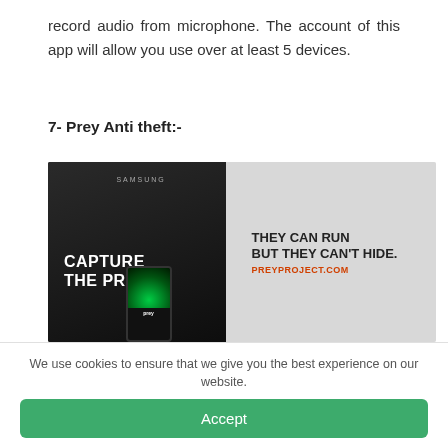record audio from microphone. The account of this app will allow you use over at least 5 devices.
7- Prey Anti theft:-
[Figure (photo): Promotional image for Prey Anti theft app showing a Samsung smartphone and a smaller phone displaying a radar screen, with text 'CAPTURE THE PREY!' on the left dark phone and 'THEY CAN RUN BUT THEY CAN'T HIDE. PREYPROJECT.COM' on the right grey background.]
We use cookies to ensure that we give you the best experience on our website.
Accept